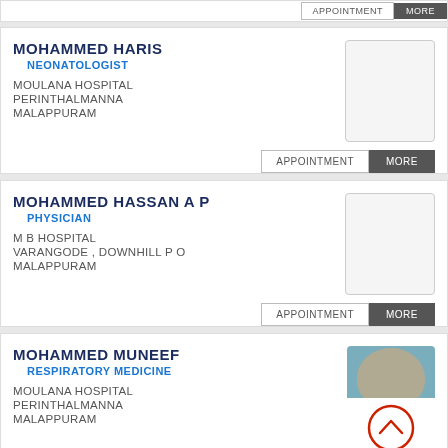APPOINTMENT | MORE
MOHAMMED HARIS
NEONATOLOGIST
MOULANA HOSPITAL
PERINTHALMANNA
MALAPPURAM
APPOINTMENT | MORE
MOHAMMED HASSAN A P
PHYSICIAN
M B HOSPITAL
VARANGODE , DOWNHILL P O
MALAPPURAM
APPOINTMENT | MORE
MOHAMMED MUNEEF
RESPIRATORY MEDICINE
MOULANA HOSPITAL
PERINTHALMANNA
MALAPPURAM